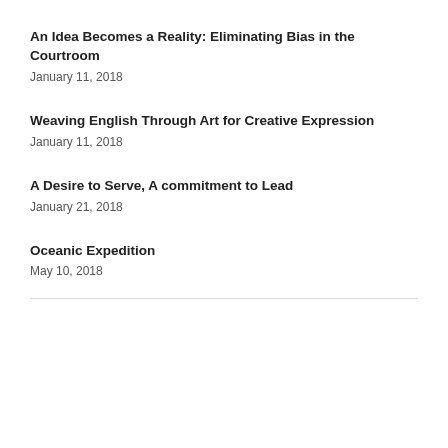An Idea Becomes a Reality: Eliminating Bias in the Courtroom
January 11, 2018
Weaving English Through Art for Creative Expression
January 11, 2018
A Desire to Serve, A commitment to Lead
January 21, 2018
Oceanic Expedition
May 10, 2018